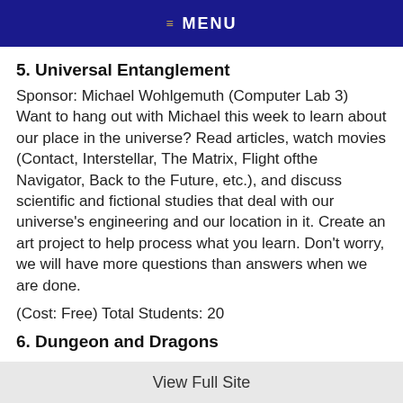MENU
5. Universal Entanglement
Sponsor: Michael Wohlgemuth (Computer Lab 3) Want to hang out with Michael this week to learn about our place in the universe? Read articles, watch movies (Contact, Interstellar, The Matrix, Flight ofthe Navigator, Back to the Future, etc.), and discuss scientific and fictional studies that deal with our universe's engineering and our location in it. Create an art project to help process what you learn. Don't worry, we will have more questions than answers when we are done.
(Cost: Free) Total Students: 20
6. Dungeon and Dragons
View Full Site